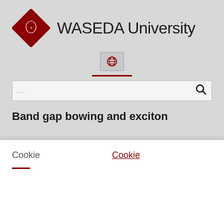[Figure (logo): Waseda University logo: red diamond shape with shield emblem inside, next to text 'WASEDA University' in large sans-serif font]
[Figure (other): Globe/language selector button with globe icon in a bordered box]
...
Band gap bowing and exciton
Cookie
Cookie